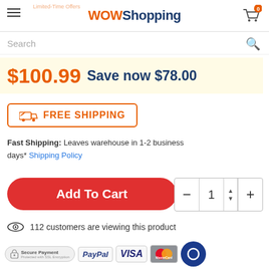WOW Shopping
Search
$100.99 Save now $78.00
FREE SHIPPING
Fast Shipping: Leaves warehouse in 1-2 business days* Shipping Policy
Add To Cart
1
112 customers are viewing this product
[Figure (infographic): Payment icons: Secure Payment (SSL), PayPal, VISA, MasterCard, chat bubble]